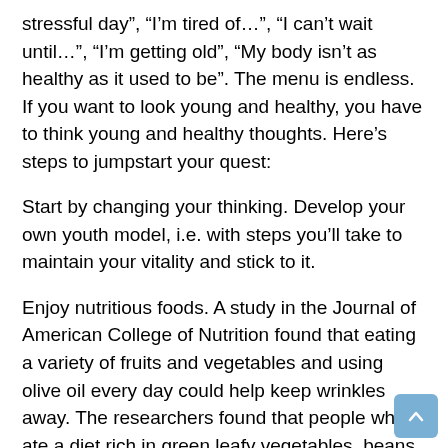stressful day", “I’m tired of…", “I can’t wait until…", “I’m getting old”, “My body isn’t as healthy as it used to be”. The menu is endless. If you want to look young and healthy, you have to think young and healthy thoughts. Here’s steps to jumpstart your quest:
Start by changing your thinking. Develop your own youth model, i.e. with steps you’ll take to maintain your vitality and stick to it.
Enjoy nutritious foods. A study in the Journal of American College of Nutrition found that eating a variety of fruits and vegetables and using olive oil every day could help keep wrinkles away. The researchers found that people who ate a diet rich in green leafy vegetables, beans, olive oil, nuts and multigrain breads, while avoiding butter, red meat and sugary goodies, were less predisposed to wrinkling. Researchers believe that antioxidant vitamins, such as A, C and E, which are found in fruits and vegetables,